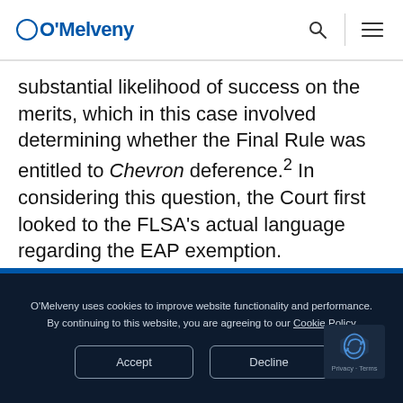O'Melveny
substantial likelihood of success on the merits, which in this case involved determining whether the Final Rule was entitled to Chevron deference.2 In considering this question, the Court first looked to the FLSA's actual language regarding the EAP exemption. Specifically, the FLSA states that "'any employee employed in a bona fide executive,
O'Melveny uses cookies to improve website functionality and performance. By continuing to this website, you are agreeing to our Cookie Policy
Accept
Decline